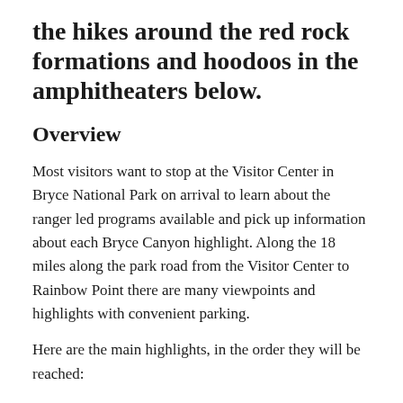the hikes around the red rock formations and hoodoos in the amphitheaters below.
Overview
Most visitors want to stop at the Visitor Center in Bryce National Park on arrival to learn about the ranger led programs available and pick up information about each Bryce Canyon highlight. Along the 18 miles along the park road from the Visitor Center to Rainbow Point there are many viewpoints and highlights with convenient parking.
Here are the main highlights, in the order they will be reached: